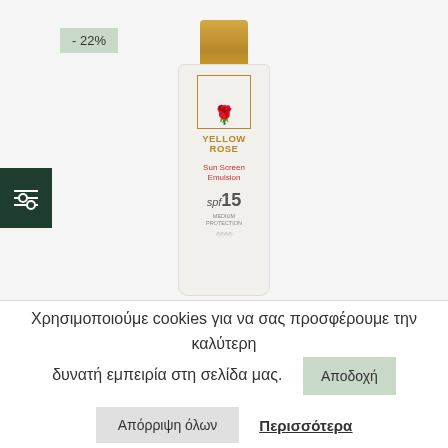[Figure (photo): Yellow Rose Sun Screen Emulsion SPF15 product bottle with gold cap on light grey background, with -22% discount badge in top left and a dark green filter icon on the left side]
Χρησιμοποιούμε cookies για να σας προσφέρουμε την καλύτερη δυνατή εμπειρία στη σελίδα μας.
Απόρριψη όλων
Περισσότερα